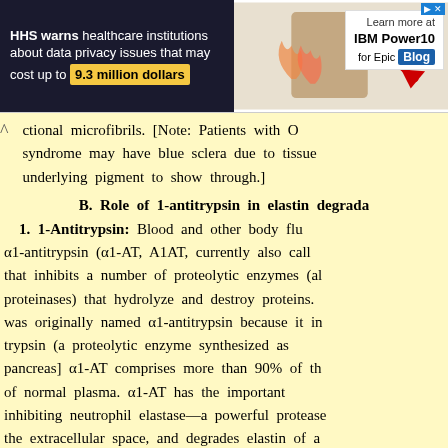[Figure (other): Advertisement banner: HHS warns healthcare institutions about data privacy issues that may cost up to 9.3 million dollars. IBM Power10 for Epic Blog advertisement with person and declining arrow chart graphic.]
ctional microfibrils. [Note: Patients with O syndrome may have blue sclera due to tissue underlying pigment to show through.]
B. Role of 1-antitrypsin in elastin degrada
1. 1-Antitrypsin: Blood and other body flu α1-antitrypsin (α1-AT, A1AT, currently also call that inhibits a number of proteolytic enzymes (al proteinases) that hydrolyze and destroy proteins. was originally named α1-antitrypsin because it in trypsin (a proteolytic enzyme synthesized as pancreas] α1-AT comprises more than 90% of th of normal plasma. α1-AT has the important inhibiting neutrophil elastase—a powerful protease the extracellular space, and degrades elastin of a